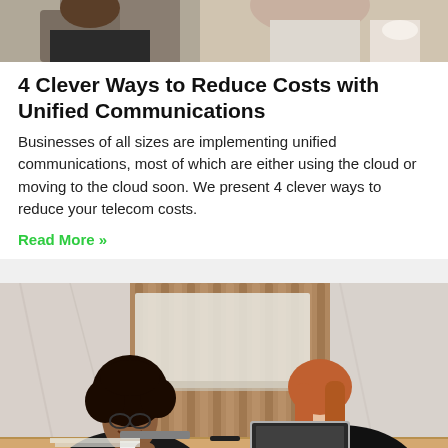[Figure (photo): Partial photo of people in a meeting room, cropped at top of page]
4 Clever Ways to Reduce Costs with Unified Communications
Businesses of all sizes are implementing unified communications, most of which are either using the cloud or moving to the cloud soon. We present 4 clever ways to reduce your telecom costs.
Read More »
[Figure (photo): Two women sitting at a table in an office setting — one with curly hair wearing a black blazer, one with red hair using a laptop. Wooden slat wall and marble wall in background.]